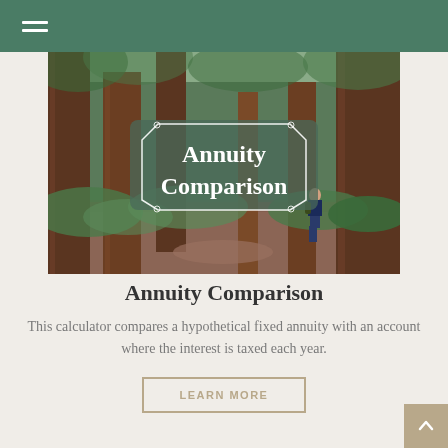[Figure (photo): A forest of tall redwood trees with ferns and a small person standing in the background. Overlaid text in a decorative badge reads 'Annuity Comparison'.]
Annuity Comparison
This calculator compares a hypothetical fixed annuity with an account where the interest is taxed each year.
LEARN MORE